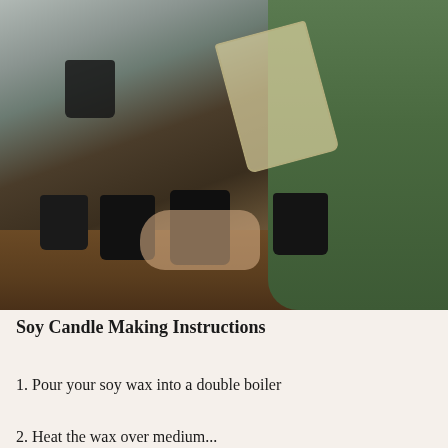[Figure (photo): A person in a green long-sleeve shirt pouring liquid soy wax from a glass measuring cup into dark glass candle jars on a wooden table. Multiple dark jars with wicks are arranged on the table.]
Soy Candle Making Instructions
1. Pour your soy wax into a double boiler
2. Heat the wax over medium...